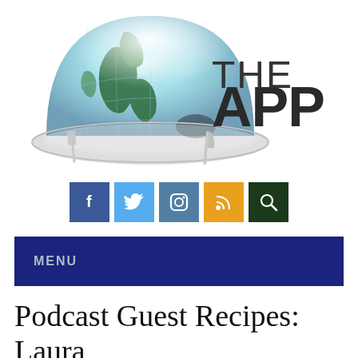[Figure (logo): Globe on a plate with fork and knife, partial text 'THE APP' visible to the right — logo for a food/appetite themed podcast or website]
[Figure (infographic): Row of five social media icon buttons: Facebook (dark blue), Twitter (light blue), Instagram (gray-blue), RSS feed (orange), Search (dark green)]
MENU
Podcast Guest Recipes: Laura